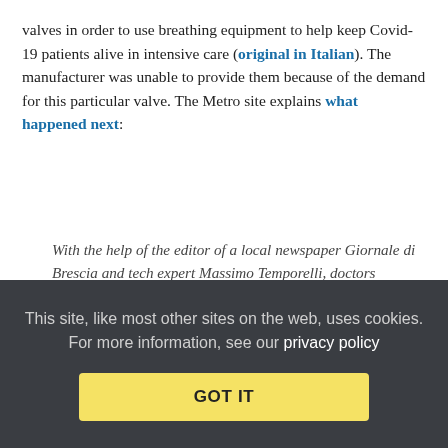valves in order to use breathing equipment to help keep Covid-19 patients alive in intensive care (original in Italian). The manufacturer was unable to provide them because of the demand for this particular valve. The Metro site explains what happened next:
With the help of the editor of a local newspaper Giornale di Brescia and tech expert Massimo Temporelli, doctors launched a search for a 3D printer — a devise that produces three dimensional objects from computer designs.
Word soon reached Fracassi, a pharmaceutical company boss in possession of the coveted machine. He immediately brought his device to the hospital and, in just a few hours, redesigned and then produced the missing piece.
This site, like most other sites on the web, uses cookies. For more information, see our privacy policy